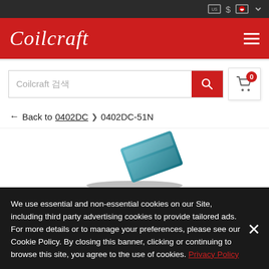Coilcraft
Coilcraft 검색
← Back to 0402DC › 0402DC-51N
[Figure (photo): Blue rectangular electronic inductor component (Coilcraft 0402DC-51N) with label showing 0.86 nH]
We use essential and non-essential cookies on our Site, including third party advertising cookies to provide tailored ads. For more details or to manage your preferences, please see our Cookie Policy. By closing this banner, clicking or continuing to browse this site, you agree to the use of cookies. Privacy Policy